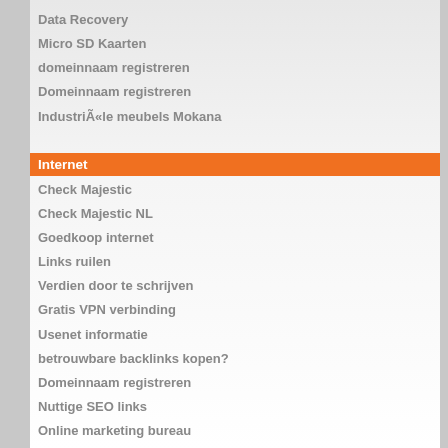Data Recovery
Micro SD Kaarten
domeinnaam registreren
Domeinnaam registreren
Industriële meubels Mokana
Internet
Check Majestic
Check Majestic NL
Goedkoop internet
Links ruilen
Verdien door te schrijven
Gratis VPN verbinding
Usenet informatie
betrouwbare backlinks kopen?
Domeinnaam registreren
Nuttige SEO links
Online marketing bureau
OnlineMarketingHeroes
Professioneel webdesign Utrecht
FUNX Radio
onlineambition
Banana Dog Bed
Logres
Logres
Kinderen en ouders
Rugzak kind